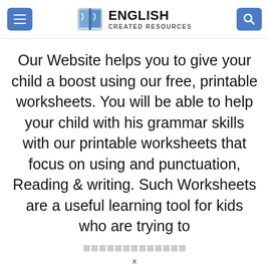ENGLISH CREATED RESOURCES
Our Website helps you to give your child a boost using our free, printable worksheets. You will be able to help your child with his grammar skills with our printable worksheets that focus on using and punctuation, Reading & writing. Such Worksheets are a useful learning tool for kids who are trying to
x